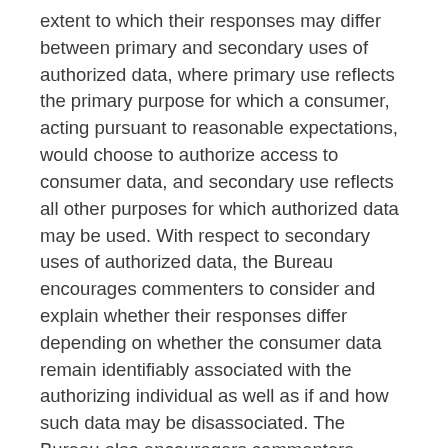extent to which their responses may differ between primary and secondary uses of authorized data, where primary use reflects the primary purpose for which a consumer, acting pursuant to reasonable expectations, would choose to authorize access to consumer data, and secondary use reflects all other purposes for which authorized data may be used. With respect to secondary uses of authorized data, the Bureau encourages commenters to consider and explain whether their responses differ depending on whether the consumer data remain identifiably associated with the authorizing individual as well as if and how such data may be disassociated. The Bureau also encouragers commenters responding to this section to identify, where applicable, the extent to which their responses may differ between uses of authorized data for the purposes of effecting payments on behalf of consumers and other uses.
25. To what extent does direct access to consumer data pursuant to section 1033 raise any privacy concerns that